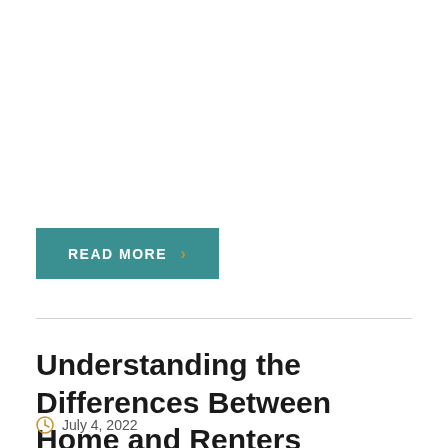READ MORE
Understanding the Differences Between Home and Renters Insurance
July 4, 2022